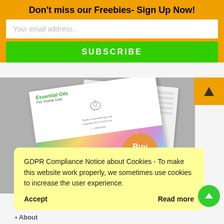Don't miss our Freebies- Sign Up Now!
Your email address..
SUBSCRIBE
[Figure (photo): Book mockup showing 'Essential Oils For Home Use' with floral imagery and a 'Buy Now' starburst badge, on a gray background]
GDPR Compliance Notice about Cookies - To make this website work properly, we sometimes use cookies to increase the user experience.
Accept
Read more
About